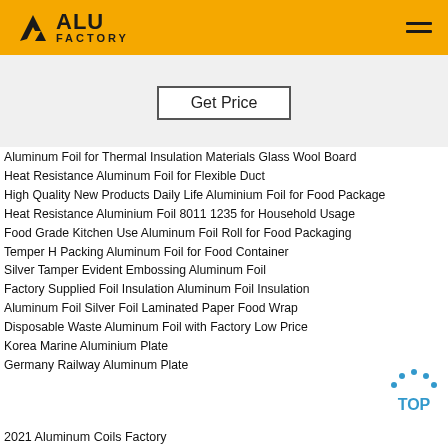ALU FACTORY
Get Price
Aluminum Foil for Thermal Insulation Materials Glass Wool Board
Heat Resistance Aluminum Foil for Flexible Duct
High Quality New Products Daily Life Aluminium Foil for Food Package
Heat Resistance Aluminium Foil 8011 1235 for Household Usage
Food Grade Kitchen Use Aluminum Foil Roll for Food Packaging
Temper H Packing Aluminum Foil for Food Container
Silver Tamper Evident Embossing Aluminum Foil
Factory Supplied Foil Insulation Aluminum Foil Insulation
Aluminum Foil Silver Foil Laminated Paper Food Wrap
Disposable Waste Aluminum Foil with Factory Low Price
Korea Marine Aluminium Plate
Germany Railway Aluminum Plate
2021 Aluminum Coils Factory